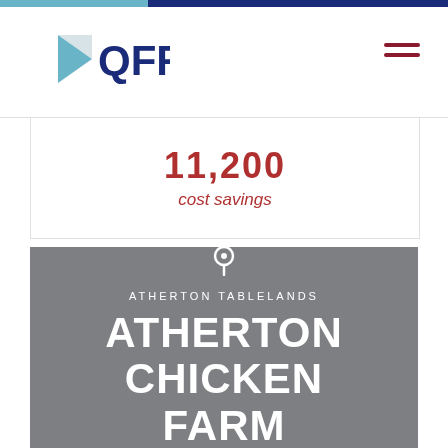[Figure (logo): QFF logo with triangular icon and text QFF in dark blue]
11,200 cost savings
ATHERTON TABLELANDS
ATHERTON CHICKEN FARM